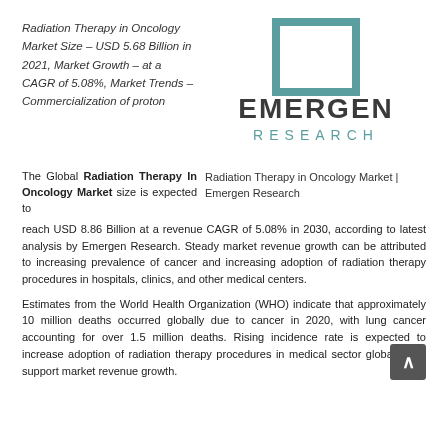Radiation Therapy in Oncology Market Size – USD 5.68 Billion in 2021, Market Growth – at a CAGR of 5.08%, Market Trends – Commercialization of proton
[Figure (logo): Emergen Research logo — square bracket icon above company name in dark teal/grey letters]
The Global Radiation Therapy In Oncology Market size is expected to reach USD 8.86 Billion at a revenue CAGR of 5.08% in 2030, according to latest analysis by Emergen Research. Steady market revenue growth can be attributed to increasing prevalence of cancer and increasing adoption of radiation therapy procedures in hospitals, clinics, and other medical centers.
Radiation Therapy in Oncology Market | Emergen Research
Estimates from the World Health Organization (WHO) indicate that approximately 10 million deaths occurred globally due to cancer in 2020, with lung cancer accounting for over 1.5 million deaths. Rising incidence rate is expected to increase adoption of radiation therapy procedures in medical sector globally and support market revenue growth.